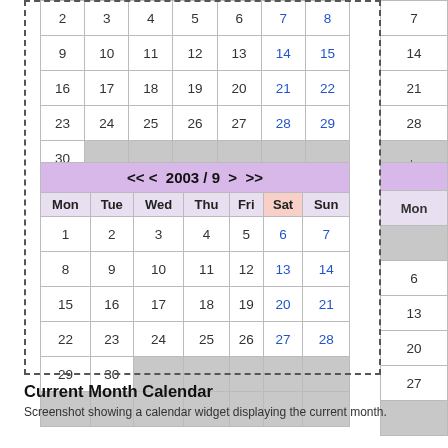[Figure (other): Partial calendar showing end of month (2003/8) — rows with dates 2-30, weekends in blue, empty cells in grey]
[Figure (other): Main calendar for 2003/9 with purple header showing << < 2003 / 9 > >>, day headers Mon-Sun, dates 1-30, Sat column pink, weekends in blue, empty cells grey]
Current Month Calendar
Screenshot showing a calendar widget displaying the current month.